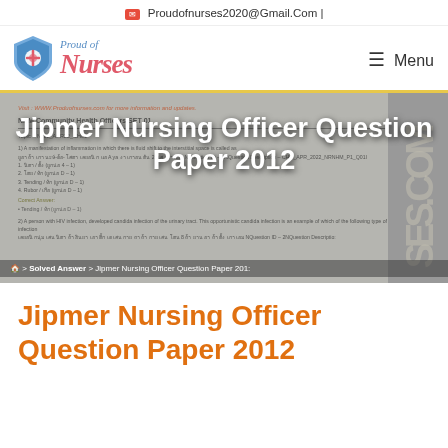✉ Proudofnurses2020@Gmail.Com |
[Figure (logo): Proud of Nurses website logo with shield icon and stylized text, plus Menu hamburger button on the right]
[Figure (screenshot): Hero banner image showing a blurred/overlaid document page of Jipmer Nursing Officer Question Paper 2012 with NHM Community Health Officers SET 01 content, overlaid with large white text title and breadcrumb navigation]
Jipmer Nursing Officer Question Paper 2012